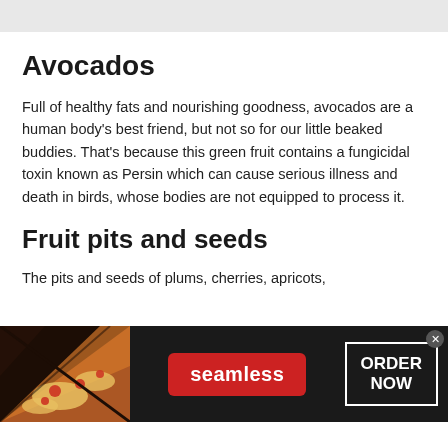Avocados
Full of healthy fats and nourishing goodness, avocados are a human body’s best friend, but not so for our little beaked buddies. That’s because this green fruit contains a fungicidal toxin known as Persin which can cause serious illness and death in birds, whose bodies are not equipped to process it.
Fruit pits and seeds
The pits and seeds of plums, cherries, apricots,
[Figure (other): Seamless food delivery advertisement banner showing pizza image on the left, a red Seamless button in the center, and an ORDER NOW button on the right with a close/X button in the top-right corner.]